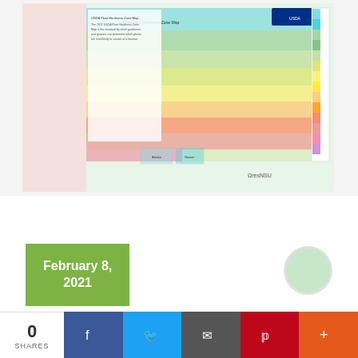[Figure (map): USDA Plant Hardiness Zone Map of the United States showing color-coded hardiness zones]
February 8, 2021
[Figure (photo): Circular avatar/profile image placeholder in light green]
Dragon's Alley  0  2269  Dragon Fruit
What is the sweetest Dragon Fruit variety?
When testing for sweetness of a Dragon Fruit a device called a
0 SHARES
f  Twitter  Email  Pinterest  +